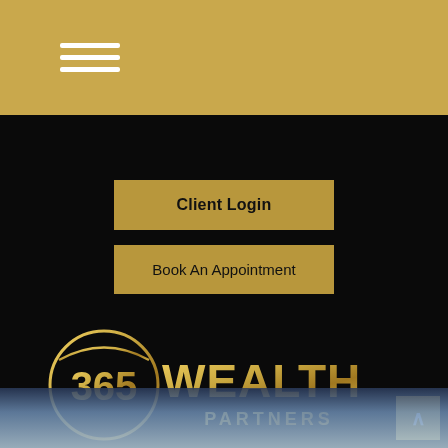≡ (hamburger menu icon)
Client Login
Book An Appointment
[Figure (logo): 365 Wealth Partners logo — circular badge with '365' in gold numerals on left, 'WEALTH PARTNERS' in large gold serif letters on right, on black background]
[Figure (photo): Bottom strip showing a blurred photo of a hand holding a smartphone, with soft blue/grey bokeh background]